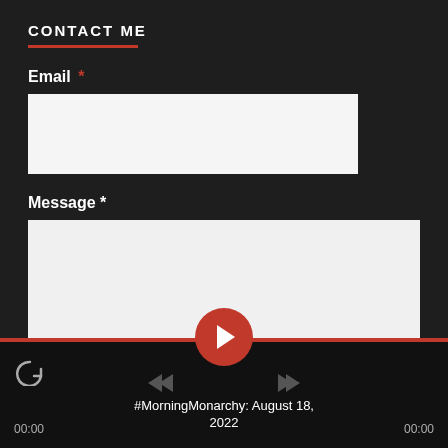CONTACT ME
Email *
[Figure (screenshot): Empty email input field (white rectangle)]
Message *
[Figure (screenshot): Empty message textarea (large white rectangle)]
#MorningMonarchy: August 18, 2022  00:00  00:00